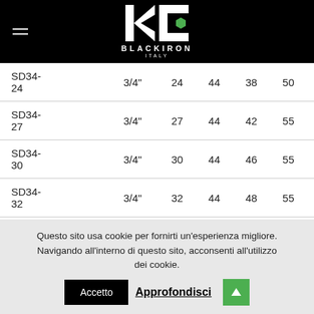[Figure (logo): Blackiron Italy logo with K and C letters in white on black background with green hexagon, brand name BLACKIRON ITALY below]
| SD34-24 | 3/4" | 24 | 44 | 38 | 50 |
| SD34-27 | 3/4" | 27 | 44 | 42 | 55 |
| SD34-30 | 3/4" | 30 | 44 | 46 | 55 |
| SD34-32 | 3/4" | 32 | 44 | 48 | 55 |
Questo sito usa cookie per fornirti un’esperienza migliore. Navigando all’interno di questo sito, acconsenti all’utilizzo dei cookie. Accetto Approfondisci